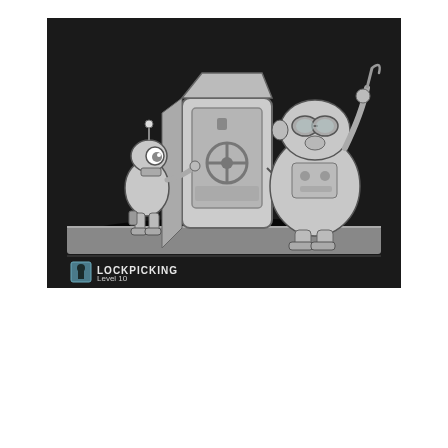[Figure (illustration): Dark background illustration showing two cartoon characters (a small robot-like figure with an antenna and a large round creature with goggles and a lockpick) carrying a heavy safe together. Below the scene is a gray horizontal bar. At the bottom left is a keyhole icon followed by the text 'LOCKPICKING Level 10'.]